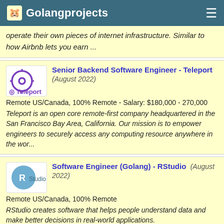Golangprojects
operate their own pieces of internet infrastructure. Similar to how Airbnb lets you earn ...
Senior Backend Software Engineer - Teleport (August 2022) Remote US/Canada, 100% Remote - Salary: $180,000 - 270,000 Teleport is an open core remote-first company headquartered in the San Francisco Bay Area, California. Our mission is to empower engineers to securely access any computing resource anywhere in the wor...
Software Engineer (Golang) - RStudio (August 2022) Remote US/Canada, 100% Remote RStudio creates software that helps people understand data and make better decisions in real-world applications.